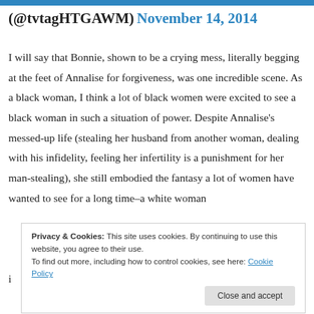(@tvtagHTGAWM) November 14, 2014
I will say that Bonnie, shown to be a crying mess, literally begging at the feet of Annalise for forgiveness, was one incredible scene. As a black woman, I think a lot of black women were excited to see a black woman in such a situation of power. Despite Annalise’s messed-up life (stealing her husband from another woman, dealing with his infidelity, feeling her infertility is a punishment for her man-stealing), she still embodied the fantasy a lot of women have wanted to see for a long time–a white woman i
Privacy & Cookies: This site uses cookies. By continuing to use this website, you agree to their use.
To find out more, including how to control cookies, see here: Cookie Policy
Close and accept
Please don't be gone forever.